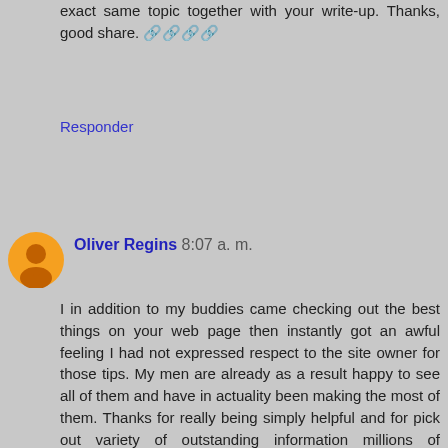exact same topic together with your write-up. Thanks, good share. 🔗🔗🔗🔗
Responder
Oliver Regins 8:07 a. m.
I in addition to my buddies came checking out the best things on your web page then instantly got an awful feeling I had not expressed respect to the site owner for those tips. My men are already as a result happy to see all of them and have in actuality been making the most of them. Thanks for really being simply helpful and for pick out variety of outstanding information millions of individuals are really needing to know about. Our own sincere regret for not expressing gratitude to you sooner. I'm also writing to make you understand what a great discovery my child enjoyed browsing your web page. She came to find some details, not to mention what it's like to possess a great teaching character to make other people quite simply fully understand selected tortuous issues. You really